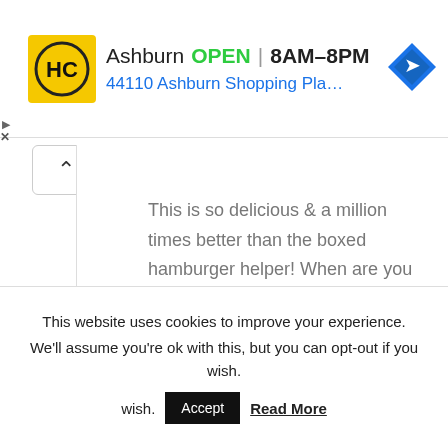[Figure (other): Advertisement banner for HC (Hamburger Helper-like brand) showing Ashburn location, OPEN status, hours 8AM-8PM, address 44110 Ashburn Shopping Plaza 1., logo, and navigation icon]
This is so delicious & a million times better than the boxed hamburger helper! When are you supposed to add the cornstarch, though?
Reply
This website uses cookies to improve your experience. We'll assume you're ok with this, but you can opt-out if you wish.
Accept   Read More